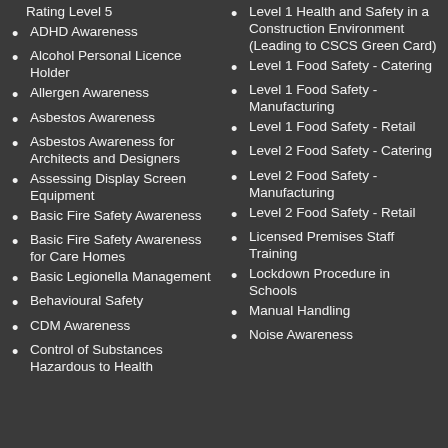Rating Level 5
ADHD Awareness
Alcohol Personal Licence Holder
Allergen Awareness
Asbestos Awareness
Asbestos Awareness for Architects and Designers
Assessing Display Screen Equipment
Basic Fire Safety Awareness
Basic Fire Safety Awareness for Care Homes
Basic Legionella Management
Behavioural Safety
CDM Awareness
Control of Substances Hazardous to Health
Level 1 Health and Safety in a Construction Environment (Leading to CSCS Green Card)
Level 1 Food Safety - Catering
Level 1 Food Safety - Manufacturing
Level 1 Food Safety - Retail
Level 2 Food Safety - Catering
Level 2 Food Safety - Manufacturing
Level 2 Food Safety - Retail
Licensed Premises Staff Training
Lockdown Procedure in Schools
Manual Handling
Noise Awareness